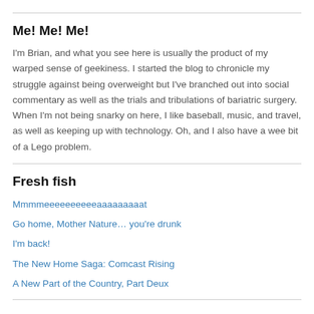Me! Me! Me!
I'm Brian, and what you see here is usually the product of my warped sense of geekiness. I started the blog to chronicle my struggle against being overweight but I've branched out into social commentary as well as the trials and tribulations of bariatric surgery. When I'm not being snarky on here, I like baseball, music, and travel, as well as keeping up with technology. Oh, and I also have a wee bit of a Lego problem.
Fresh fish
Mmmmeeeeeeeeeeaaaaaaaaat
Go home, Mother Nature… you're drunk
I'm back!
The New Home Saga: Comcast Rising
A New Part of the Country, Part Deux